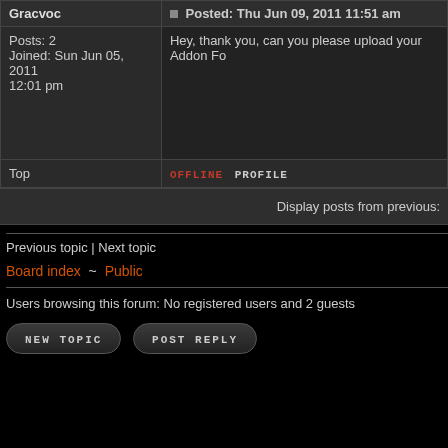| Gracvoc | Posted: Thu Jun 09, 2011 11:51 am |
| --- | --- |
| Posts: 2
Joined: Sun Jun 05, 2011 12:01 pm | Hey, thank you, can you please upload your Addon Fo... |
| Top | OFFLINE  PROFILE |
Display posts from previous:
Previous topic | Next topic
Board index ~ Public
Users browsing this forum: No registered users and 2 guests
NEW TOPIC  POST REPLY